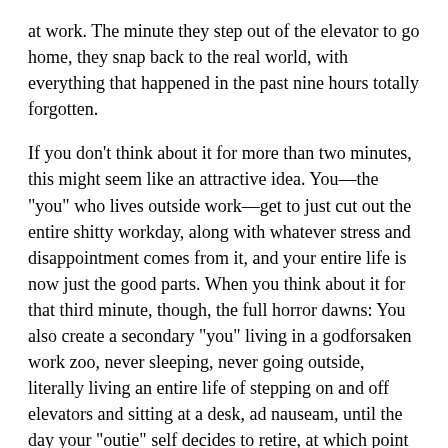at work. The minute they step out of the elevator to go home, they snap back to the real world, with everything that happened in the past nine hours totally forgotten.
If you don't think about it for more than two minutes, this might seem like an attractive idea. You—the “you” who lives outside work—get to just cut out the entire shitty workday, along with whatever stress and disappointment comes from it, and your entire life is now just the good parts. When you think about it for that third minute, though, the full horror dawns: You also create a secondary “you” living in a godforsaken work zoo, never sleeping, never going outside, literally living an entire life of stepping on and off elevators and sitting at a desk, ad nauseam, until the day your “outie” self decides to retire, at which point you just die.
We watch as main character Mark (Adam Scott) marches